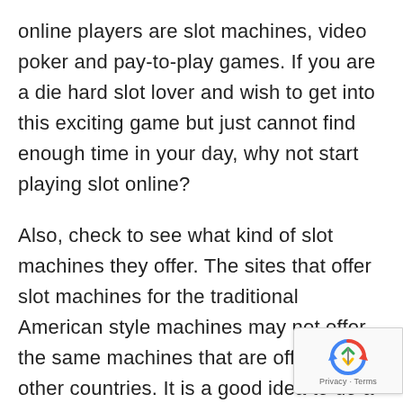online players are slot machines, video poker and pay-to-play games. If you are a die hard slot lover and wish to get into this exciting game but just cannot find enough time in your day, why not start playing slot online?
Also, check to see what kind of slot machines they offer. The sites that offer slot machines for the traditional American style machines may not offer the same machines that are offered in other countries. It is a good idea to do a bit of research before you register for an account.
In the internet slots the payout
[Figure (other): reCAPTCHA privacy badge with circular arrow icon and 'Privacy - Terms' text]